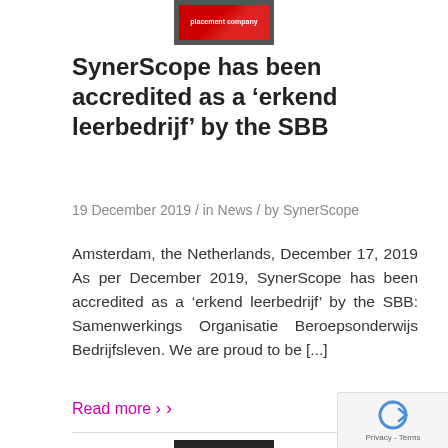[Figure (logo): SynerScope logo or company logo graphic at top center]
SynerScope has been accredited as a ‘erkend leerbedrijf’ by the SBB
19 December 2019 / in News / by SynerScope
Amsterdam, the Netherlands, December 17, 2019 As per December 2019, SynerScope has been accredited as a ‘erkend leerbedrijf’ by the SBB: Samenwerkings Organisatie Beroepsonderwijs Bedrijfsleven. We are proud to be [...]
Read more ›
[Figure (photo): Photo of people at bottom of page]